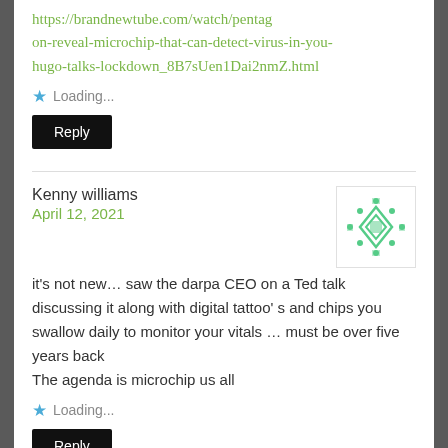https://brandnewtube.com/watch/pentagon-reveal-microchip-that-can-detect-virus-in-you-hugo-talks-lockdown_8B7sUen1Dai2nmZ.html
★ Loading...
Reply
Kenny williams
April 12, 2021
[Figure (illustration): Green geometric avatar/identicon pattern with diamond and square shapes]
it's not new… saw the darpa CEO on a Ted talk discussing it along with digital tattoo' s and chips you swallow daily to monitor your vitals … must be over five years back
The agenda is microchip us all
★ Loading...
Reply